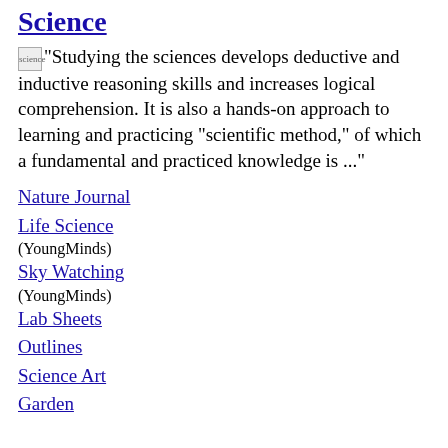Science
"Studying the sciences develops deductive and inductive reasoning skills and increases logical comprehension. It is also a hands-on approach to learning and practicing "scientific method," of which a fundamental and practiced knowledge is ..."
Nature Journal
Life Science (YoungMinds)
Sky Watching (YoungMinds)
Lab Sheets
Outlines
Science Art
Garden
Apologia Science
Because I used this curriculum, I have lesson plans for some of the books. For my children, I made vocabulary bookmarks as a study aid & those are online as well.
E.C.W. General Science
E.C.W. Physical Science